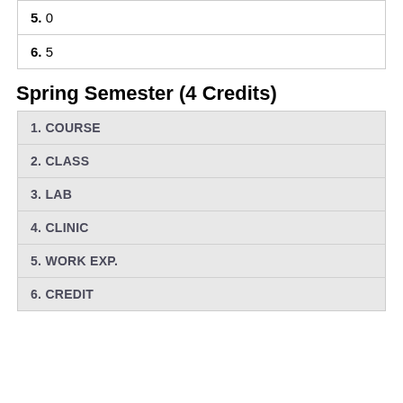5. 0
6. 5
Spring Semester (4 Credits)
1. COURSE
2. CLASS
3. LAB
4. CLINIC
5. WORK EXP.
6. CREDIT